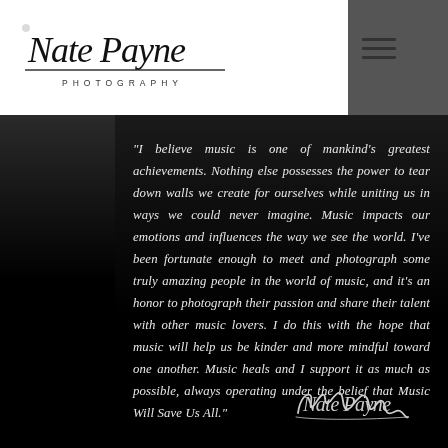Nate Payne Photography
"I believe music is one of mankind's greatest achievements. Nothing else possesses the power to tear down walls we create for ourselves while uniting us in ways we could never imagine. Music impacts our emotions and influences the way we see the world. I've been fortunate enough to meet and photograph some truly amazing people in the world of music, and it's an honor to photograph their passion and share their talent with other music lovers. I do this with the hope that music will help us be kinder and more mindful toward one another. Music heals and I support it as much as possible, always operating under the belief that Music Will Save Us All."
[Figure (illustration): Handwritten cursive signature of Nate Payne]